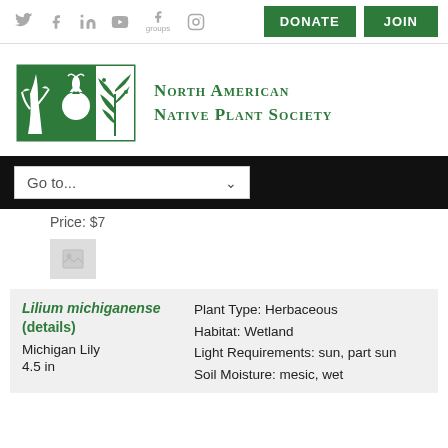[Figure (logo): Social media icons: Twitter, Facebook, LinkedIn, YouTube, Facebook Groups, Instagram]
[Figure (logo): DONATE and JOIN buttons (green)]
[Figure (logo): North American Native Plant Society logo with botanical illustration in green and white, three panels showing plants]
North American Native Plant Society
Go to...
Price: $7
[Figure (photo): Image placeholder thumbnail]
Lilium michiganense (details)
Michigan Lily
4.5 in
Plant Type: Herbaceous
Habitat: Wetland
Light Requirements: sun, part sun
Soil Moisture: mesic, wet